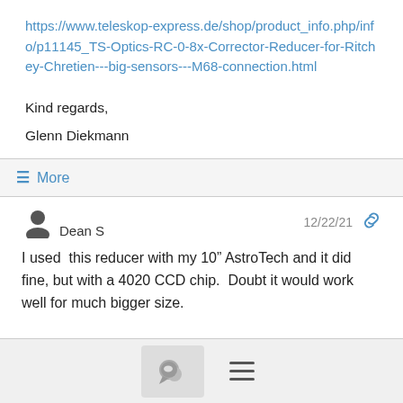https://www.teleskop-express.de/shop/product_info.php/info/p11145_TS-Optics-RC-0-8x-Corrector-Reducer-for-Ritchey-Chretien---big-sensors---M68-connection.html
Kind regards,
Glenn Diekmann
☰ More
Dean S   12/22/21
I used  this reducer with my 10" AstroTech and it did fine, but with a 4020 CCD chip.  Doubt it would work well for much bigger size.